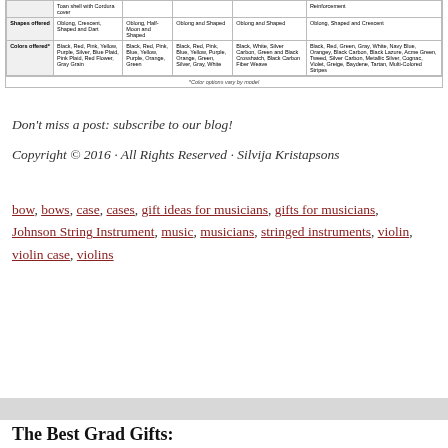|  | Col1 | Col2 | Col3 | Col4 | Col5 |
| --- | --- | --- | --- | --- | --- |
|  | Toan shell with Cordura cover |  |  |  | Reinforcement |
| Shapes offered | Oblong, Crescent, Shaped and Dart | Oblong, Half-Moon and Shaped | Oblong and Shaped | Oblong and Shaped | Oblong, Shaped and Crescent |
| Colors offered* | Black, Red, Pink, Yellow, Purple, Silver, Blue Plaid, Pink Plaid, Red Flower, Gray Grain | Black, Red, Pink, Blue, Yellow, Purple, Orange, Green | Black, Red, Pink, Blue, Yellow, Purple, Orange, Green, Silver, Gray, White | Black, White, Silver Carbon, Green and Black Crosshatch, Black Carbon Fiber Weave | Black, Red, Green, Gray, White, Navy Blue, Orangey, Black Carbon, Black Lazure, Acme Green, Tweed, Silver Carbon, Metallic Silver, Cognac, Violet, Greige, Baydene, Tartan, Multi-Colored Stripes |
*Color options vary by model
Don't miss a post: subscribe to our blog!
Copyright © 2016 · All Rights Reserved · Silvija Kristapsons
bow, bows, case, cases, gift ideas for musicians, gifts for musicians, Johnson String Instrument, music, musicians, stringed instruments, violin, violin case, violins
The Best Grad Gifts: